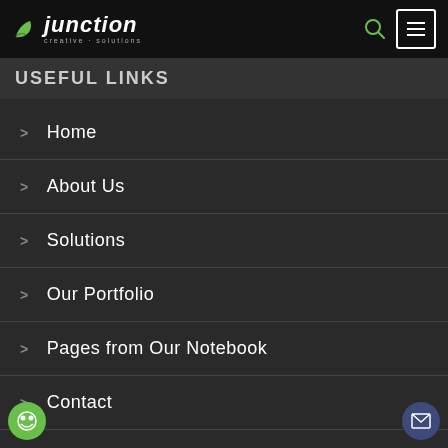[Figure (logo): Junction Creative Solutions logo with green leaf icon and white italic text on black navigation bar]
USEFUL LINKS
Home
About Us
Solutions
Our Portfolio
Pages from Our Notebook
Contact